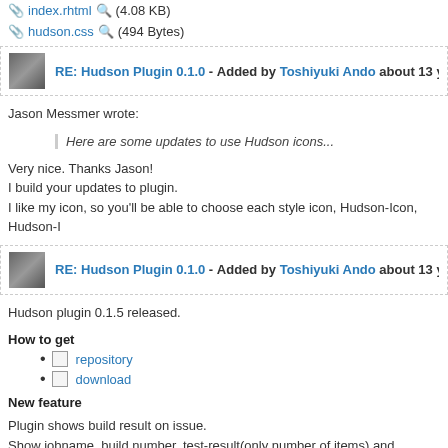index.rhtml 🔍 (4.08 KB)
hudson.css 🔍 (494 Bytes)
RE: Hudson Plugin 0.1.0 - Added by Toshiyuki Ando about 13 years ago
Jason Messmer wrote:
Here are some updates to use Hudson icons...
Very nice. Thanks Jason!
I build your updates to plugin.
I like my icon, so you'll be able to choose each style icon, Hudson-Icon, Hudson-I
RE: Hudson Plugin 0.1.0 - Added by Toshiyuki Ando about 13 years ago
Hudson plugin 0.1.5 released.
How to get
repository
download
New feature
Plugin shows build result on issue.
Show jobname, build number, test-result(only number of items) and changesets.
Associated revisions
Revision 8